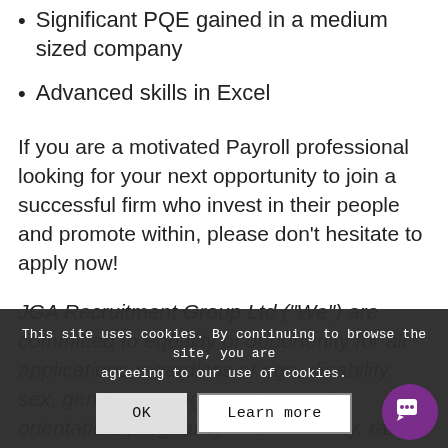Significant PQE gained in a medium sized company
Advanced skills in Excel
If you are a motivated Payroll professional looking for your next opportunity to join a successful firm who invest in their people and promote within, please don't hesitate to apply now!
JGA Recruitment Group Ltd (“We”) are committed to equality of opportunity for all applications regardless of age, disability, sex, gender reassignment, sexual orientation, pregnancy and maternity, race, religion or belief, and marriage and civil partnerships. We strongly encourage suitably qualified applicants from a wide range of backgrounds.
This site uses cookies. By continuing to browse the site, you are agreeing to our use of cookies.